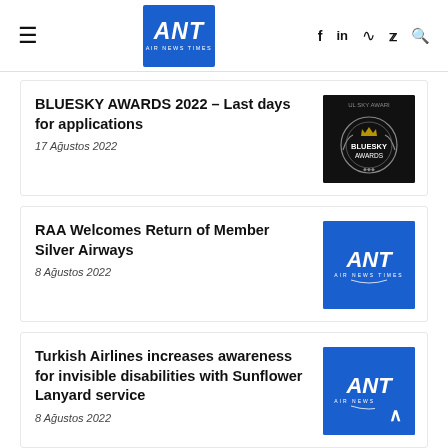ANT Air News Times — navigation header with social icons
BLUESKY AWARDS 2022 – Last days for applications
17 Ağustos 2022
[Figure (logo): Bluesky Awards circular emblem on dark background]
RAA Welcomes Return of Member Silver Airways
8 Ağustos 2022
[Figure (logo): ANT Air News Times logo on blue background]
Turkish Airlines increases awareness for invisible disabilities with Sunflower Lanyard service
8 Ağustos 2022
[Figure (logo): ANT Air News Times logo on blue background]